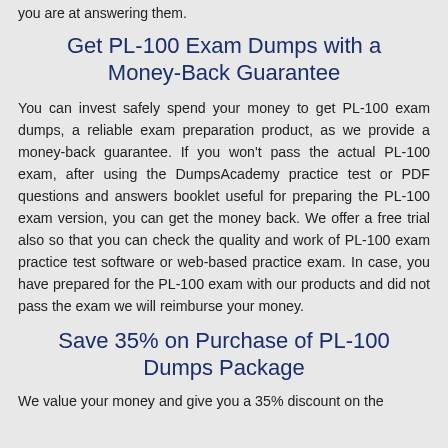you are at answering them.
Get PL-100 Exam Dumps with a Money-Back Guarantee
You can invest safely spend your money to get PL-100 exam dumps, a reliable exam preparation product, as we provide a money-back guarantee. If you won't pass the actual PL-100 exam, after using the DumpsAcademy practice test or PDF questions and answers booklet useful for preparing the PL-100 exam version, you can get the money back. We offer a free trial also so that you can check the quality and work of PL-100 exam practice test software or web-based practice exam. In case, you have prepared for the PL-100 exam with our products and did not pass the exam we will reimburse your money.
Save 35% on Purchase of PL-100 Dumps Package
We value your money and give you a 35% discount on the